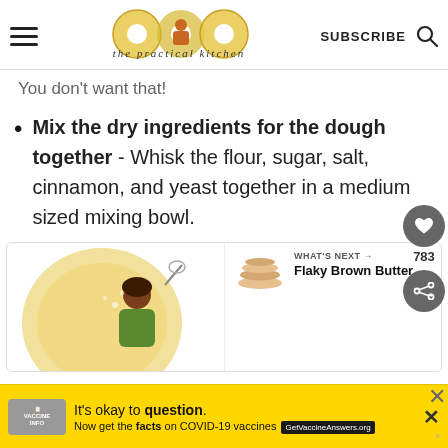the practical kitchen — SUBSCRIBE
You don't want that!
Mix the dry ingredients for the dough together - Whisk the flour, sugar, salt, cinnamon, and yeast together in a medium sized mixing bowl.
[Figure (illustration): Recipe card area with circular bagel illustration and cartoon woman with whisk. 'WHAT'S NEXT → Flaky Brown Butter...' sidebar visible.]
It's okay to question. Now get the facts on COVID-19 vaccines GetVaccineAnswers.org